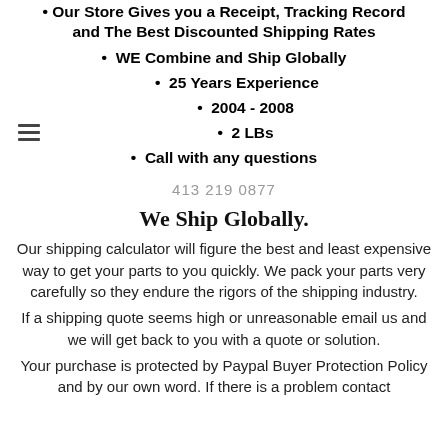Our Store Gives you a Receipt, Tracking Record and The Best Discounted Shipping Rates
WE Combine and Ship Globally
25 Years Experience
2004 - 2008
2 LBs
Call with any questions
413 219 0877
We Ship Globally.
Our shipping calculator will figure the best and least expensive way to get your parts to you quickly. We pack your parts very carefully so they endure the rigors of the shipping industry.
If a shipping quote seems high or unreasonable email us and we will get back to you with a quote or solution.
Your purchase is protected by Paypal Buyer Protection Policy and by our own word. If there is a problem contact